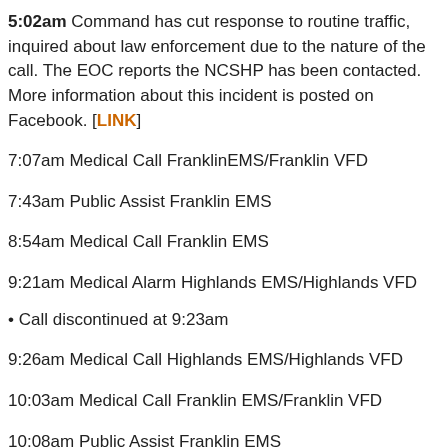**5:02am** Command has cut response to routine traffic, inquired about law enforcement due to the nature of the call. The EOC reports the NCSHP has been contacted. More information about this incident is posted on Facebook. [LINK]
7:07am Medical Call FranklinEMS/Franklin VFD
7:43am Public Assist Franklin EMS
8:54am Medical Call Franklin EMS
9:21am Medical Alarm Highlands EMS/Highlands VFD
• Call discontinued at 9:23am
9:26am Medical Call Highlands EMS/Highlands VFD
10:03am Medical Call Franklin EMS/Franklin VFD
10:08am Public Assist Franklin EMS